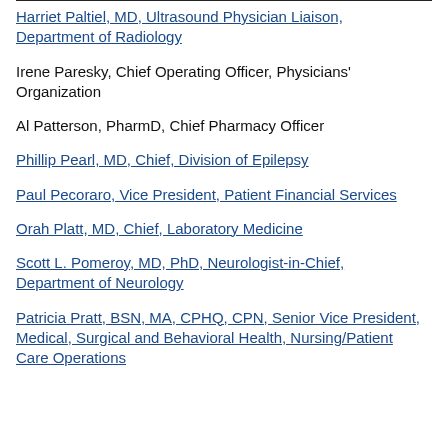Harriet Paltiel, MD, Ultrasound Physician Liaison, Department of Radiology
Irene Paresky, Chief Operating Officer, Physicians' Organization
Al Patterson, PharmD, Chief Pharmacy Officer
Phillip Pearl, MD, Chief, Division of Epilepsy
Paul Pecoraro, Vice President, Patient Financial Services
Orah Platt, MD, Chief, Laboratory Medicine
Scott L. Pomeroy, MD, PhD, Neurologist-in-Chief, Department of Neurology
Patricia Pratt, BSN, MA, CPHQ, CPN, Senior Vice President, Medical, Surgical and Behavioral Health, Nursing/Patient Care Operations